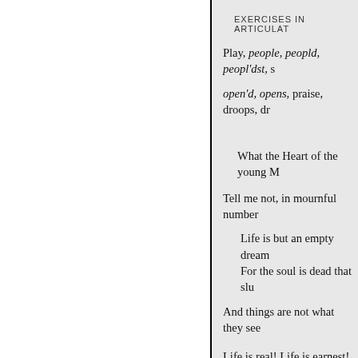EXERCISES IN ARTICULATION
Play, people, peopld, peopl'dst, s
open'd, opens, praise, droops, dr
What the Heart of the young M
Tell me not, in mournful number
Life is but an empty dream
For the soul is dead that slu
And things are not what they see
Life is real! Life is earnest!
And the grave is not its go
" Dust thou art, to dust retur
Was not spoken of the soul.